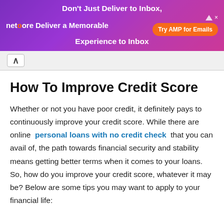[Figure (screenshot): Netcore advertisement banner with purple gradient background. Text reads: Don't Just Deliver to Inbox, netcore Deliver a Memorable Experience to Inbox. Orange button: Try AMP for Emails.]
How To Improve Credit Score
Whether or not you have poor credit, it definitely pays to continuously improve your credit score. While there are online personal loans with no credit check that you can avail of, the path towards financial security and stability means getting better terms when it comes to your loans. So, how do you improve your credit score, whatever it may be? Below are some tips you may want to apply to your financial life: